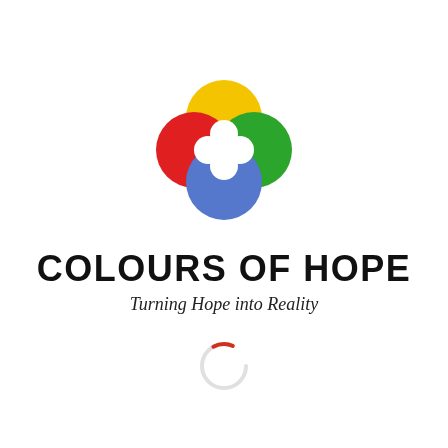[Figure (logo): Colours of Hope logo: four interlocking circles in yellow (top), red (left), blue (bottom), green (right), each with a clover-leaf cutout shape in the center, overlapping in the middle]
COLOURS OF HOPE
Turning Hope into Reality
[Figure (illustration): Small loading spinner arc in light gray and red, partially drawn circle]